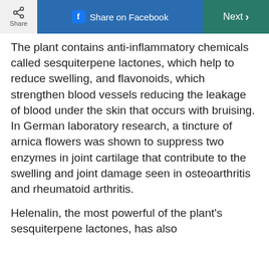Share | Share on Facebook | Next
The plant contains anti-inflammatory chemicals called sesquiterpene lactones, which help to reduce swelling, and flavonoids, which strengthen blood vessels reducing the leakage of blood under the skin that occurs with bruising. In German laboratory research, a tincture of arnica flowers was shown to suppress two enzymes in joint cartilage that contribute to the swelling and joint damage seen in osteoarthritis and rheumatoid arthritis.
Helenalin, the most powerful of the plant's sesquiterpene lactones, has also been studied in the laboratory for its...